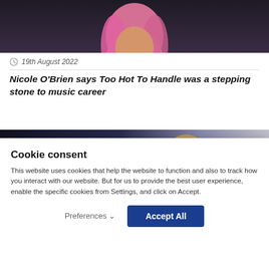[Figure (photo): Photo of a person with pink hair against a dark background, cropped to show head and shoulders]
19th August 2022
Nicole O'Brien says Too Hot To Handle was a stepping stone to music career
[Figure (photo): Photo of a blonde woman against a dark background with white script text overlay reading 'White Carpet']
Cookie consent
This website uses cookies that help the website to function and also to track how you interact with our website. But for us to provide the best user experience, enable the specific cookies from Settings, and click on Accept.
Preferences ∨
Accept All